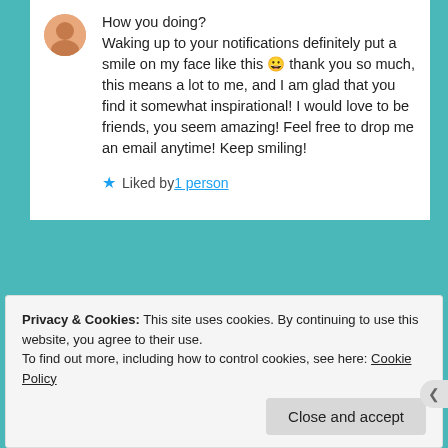How you doing?
Waking up to your notifications definitely put a smile on my face like this 😀 thank you so much, this means a lot to me, and I am glad that you find it somewhat inspirational! I would love to be friends, you seem amazing! Feel free to drop me an email anytime! Keep smiling!
★ Liked by 1 person
Privacy & Cookies: This site uses cookies. By continuing to use this website, you agree to their use.
To find out more, including how to control cookies, see here: Cookie Policy
Close and accept